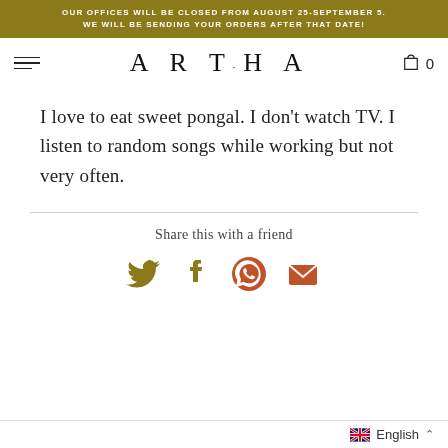OUR OFFICES WILL BE CLOSED FROM AUGUST 25-SEPTEMBER 5. WE WILL BE SENDING YOUR ORDERS AFTER THAT DATE!
ARTHA
I love to eat sweet pongal. I don't watch TV. I listen to random songs while working but not very often.
Share this with a friend
[Figure (infographic): Social share icons: Twitter (olive/gold), Facebook (olive/gold), WhatsApp (orange-red), Email (orange-red)]
English